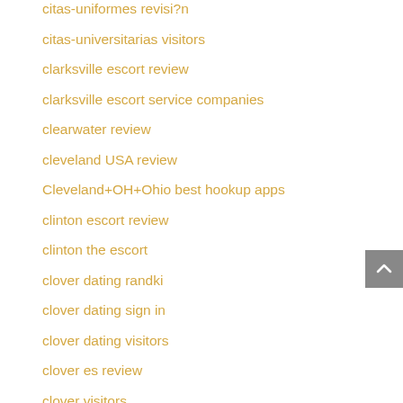citas-uniformes revisi?n
citas-universitarias visitors
clarksville escort review
clarksville escort service companies
clearwater review
cleveland USA review
Cleveland+OH+Ohio best hookup apps
clinton escort review
clinton the escort
clover dating randki
clover dating sign in
clover dating visitors
clover es review
clover visitors
clovis review